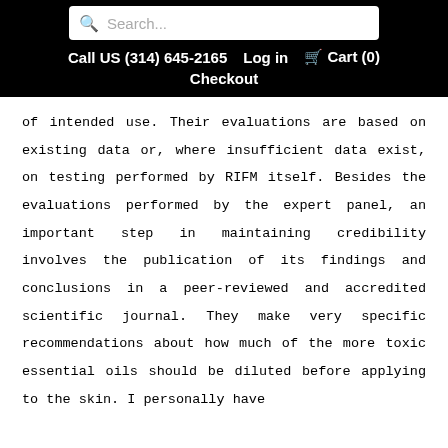Search... | Call US (314) 645-2165 | Log in | Cart (0) | Checkout
of intended use. Their evaluations are based on existing data or, where insufficient data exist, on testing performed by RIFM itself. Besides the evaluations performed by the expert panel, an important step in maintaining credibility involves the publication of its findings and conclusions in a peer-reviewed and accredited scientific journal. They make very specific recommendations about how much of the more toxic essential oils should be diluted before applying to the skin. I personally have